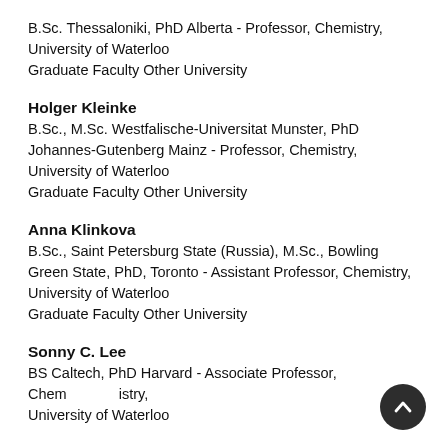B.Sc. Thessaloniki, PhD Alberta - Professor, Chemistry, University of Waterloo
Graduate Faculty Other University
Holger Kleinke
B.Sc., M.Sc. Westfalische-Universitat Munster, PhD Johannes-Gutenberg Mainz - Professor, Chemistry, University of Waterloo
Graduate Faculty Other University
Anna Klinkova
B.Sc., Saint Petersburg State (Russia), M.Sc., Bowling Green State, PhD, Toronto - Assistant Professor, Chemistry, University of Waterloo
Graduate Faculty Other University
Sonny C. Lee
BS Caltech, PhD Harvard - Associate Professor, Chemistry, University of Waterloo